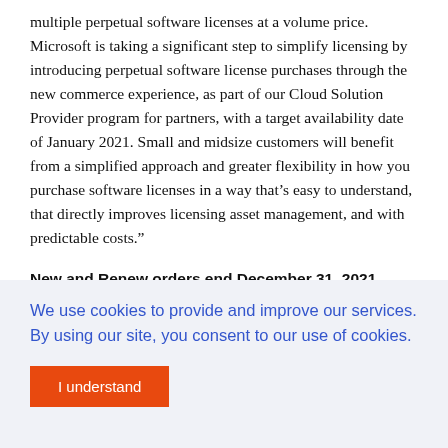multiple perpetual software licenses at a volume price. Microsoft is taking a significant step to simplify licensing by introducing perpetual software license purchases through the new commerce experience, as part of our Cloud Solution Provider program for partners, with a target availability date of January 2021. Small and midsize customers will benefit from a simplified approach and greater flexibility in how you purchase software licenses in a way that's easy to understand, that directly improves licensing asset management, and with predictable costs."
New and Renew orders end December 31, 2021
In preparation of this upcoming date we recommend preparing and planning now. At the start of 2022 no orders will be accepted and more. Competitors who that are currently
We use cookies to provide and improve our services. By using our site, you consent to our use of cookies.
I understand